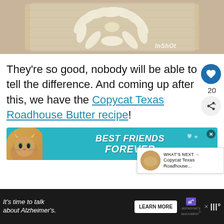[Figure (photo): Food photo showing sliced banana pieces arranged in a fan pattern on a wooden cutting board, wrapped in plastic. InShot watermark visible in bottom right.]
They’re so good, nobody will be able to tell the difference. And coming up after this, we have the Copycat Texas Roadhouse Butter recipe!
[Figure (photo): Advertisement banner with teal background showing a cat and bold white italic text reading BEST FRIENDS FOREVER with heart decorations. Close button (X) in top right.]
WHAT'S NEXT → Copycat Texas Roadhouse...
[Figure (other): Bottom advertisement on dark background: It’s time to talk about Alzheimer’s. with LEARN MORE button and Alzheimer's Association logo.]